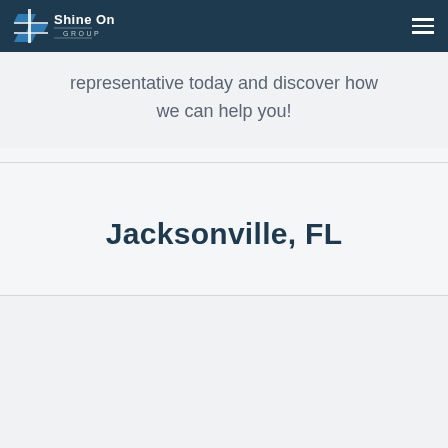[Figure (logo): Shine On Group logo — stylized S icon in blue and white with text 'Shine On GROUP' in white on dark navy header background]
representative today and discover how we can help you!
Jacksonville, FL